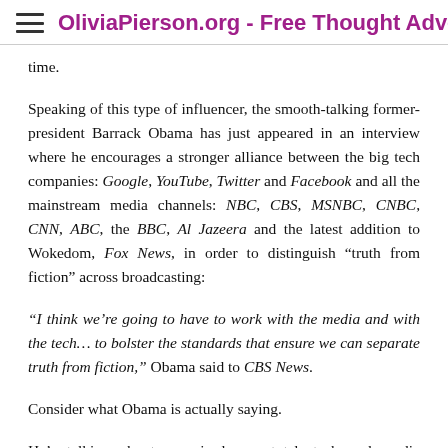OliviaPierson.org - Free Thought Advocate
time.
Speaking of this type of influencer, the smooth-talking former-president Barrack Obama has just appeared in an interview where he encourages a stronger alliance between the big tech companies: Google, YouTube, Twitter and Facebook and all the mainstream media channels: NBC, CBS, MSNBC, CNBC, CNN, ABC, the BBC, Al Jazeera and the latest addition to Wokedom, Fox News, in order to distinguish “truth from fiction” across broadcasting:
“I think we’re going to have to work with the media and with the tech… to bolster the standards that ensure we can separate truth from fiction,” Obama said to CBS News.
Consider what Obama is actually saying.
He’s talking about organised, near-total, tech and media blackouts